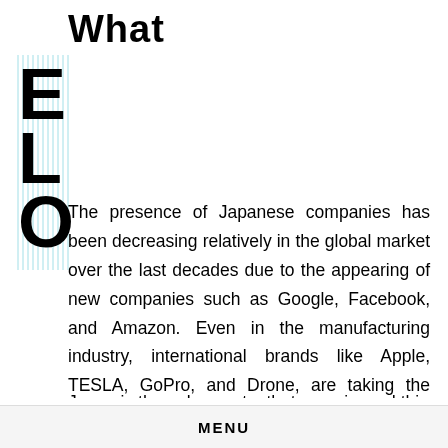What
[Figure (illustration): Decorative large letters E, L, O with cyan vertical line decorations behind them forming a stylized graphic element]
The presence of Japanese companies has been decreasing relatively in the global market over the last decades due to the appearing of new companies such as Google, Facebook, and Amazon. Even in the manufacturing industry, international brands like Apple, TESLA, GoPro, and Drone, are taking the place of Japanese companies. The Japanese GDP dropped so significantly between 2012 and 2015 that the scale of Japanese economy shrunk to the level of early 2000's. Among developed countries, Japan is the only country that experienced this
MENU